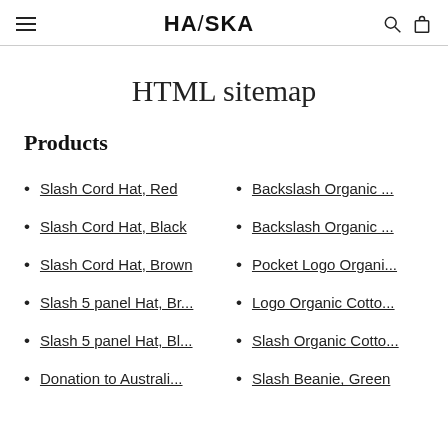HA/SKA
HTML sitemap
Products
Slash Cord Hat, Red
Backslash Organic ...
Slash Cord Hat, Black
Backslash Organic ...
Slash Cord Hat, Brown
Pocket Logo Organi...
Slash 5 panel Hat, Br...
Logo Organic Cotto...
Slash 5 panel Hat, Bl...
Slash Organic Cotto...
Donation to Australi...
Slash Beanie, Green